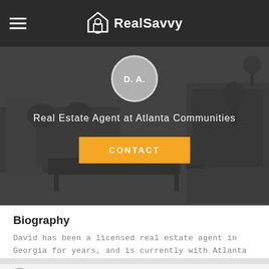RealSavvy
[Figure (screenshot): Hero background image of a living room interior in grayscale, with a dark overlay. Shows a circular avatar placeholder with initials D.A., agent title text, and a Contact button.]
Real Estate Agent at Atlanta Communities
CONTACT
Biography
David has been a licensed real estate agent in Georgia for years, and is currently with Atlanta Communities in Marietta.
Claim your site for free, control your profile & get leads
GET STARTED